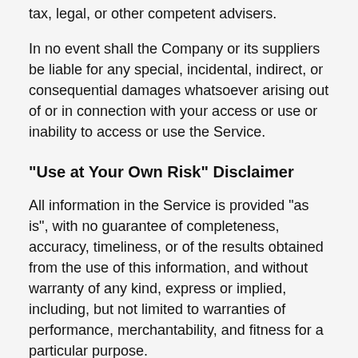tax, legal, or other competent advisers.
In no event shall the Company or its suppliers be liable for any special, incidental, indirect, or consequential damages whatsoever arising out of or in connection with your access or use or inability to access or use the Service.
"Use at Your Own Risk" Disclaimer
All information in the Service is provided "as is", with no guarantee of completeness, accuracy, timeliness, or of the results obtained from the use of this information, and without warranty of any kind, express or implied, including, but not limited to warranties of performance, merchantability, and fitness for a particular purpose.
The Company will not be liable to You or anyone else for any decision made or action taken in reliance on the information given by the Service or for any consequential, special or similar damages, even if advised of the